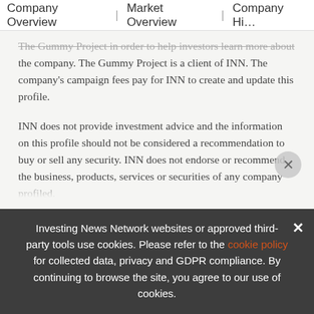Company Overview | Market Overview | Company Hi...
The Gummy Project in order to help investors learn more about the company. The Gummy Project is a client of INN. The company's campaign fees pay for INN to create and update this profile.
INN does not provide investment advice and the information on this profile should not be considered a recommendation to buy or sell any security. INN does not endorse or recommend the business, products, services or securities of any company profiled.
The information contained here is for information purposes only and is not to be construed as an offer or solicitation for the sale or purchase of securities. Readers should conduct their own...
Investing News Network websites or approved third-party tools use cookies. Please refer to the cookie policy for collected data, privacy and GDPR compliance. By continuing to browse the site, you agree to our use of cookies.